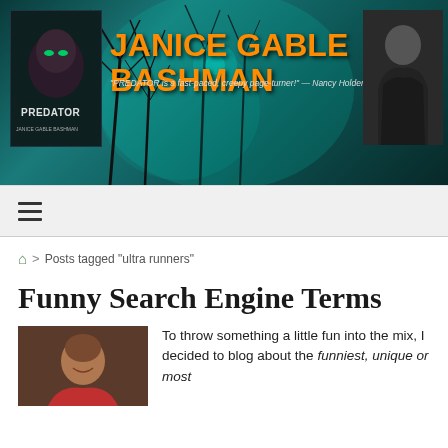[Figure (illustration): Janice Gable Bashman website header banner with book cover for PREDATOR on left, large orange bold text reading JANICE GABLE BASHMAN in center, italic quote below the name, and author photo on right, all over a dark teal forest/trees background]
≡
🏠 > Posts tagged "ultra runners"
Funny Search Engine Terms
To throw something a little fun into the mix, I decided to blog about the funniest, unique or most...